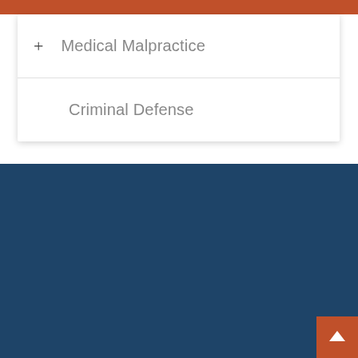+ Medical Malpractice
Criminal Defense